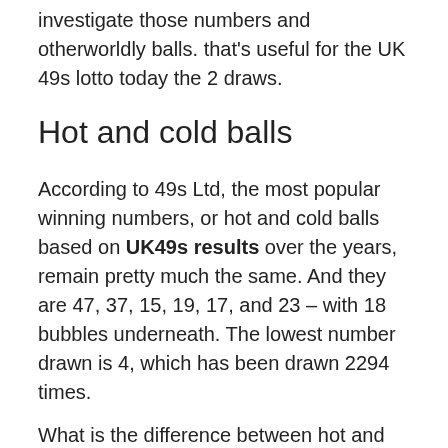investigate those numbers and otherworldly balls. that's useful for the UK 49s lotto today the 2 draws.
Hot and cold balls
According to 49s Ltd, the most popular winning numbers, or hot and cold balls based on UK49s results over the years, remain pretty much the same. And they are 47, 37, 15, 19, 17, and 23 – with 18 bubbles underneath. The lowest number drawn is 4, which has been drawn 2294 times.
What is the difference between hot and cold balls? Hot balls are the most frequently drawn numbers and cold balls are the least frequently drawn numbers. We want you to win and make things easier for you.
We have a table showing what hot and cold balls are and